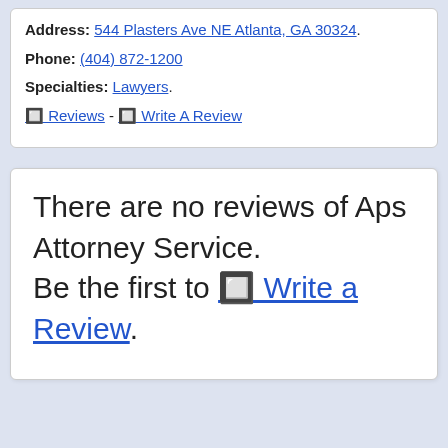Address: 544 Plasters Ave NE Atlanta, GA 30324.
Phone: (404) 872-1200
Specialties: Lawyers.
0 Reviews - 0 Write A Review
There are no reviews of Aps Attorney Service. Be the first to 0 Write a Review.